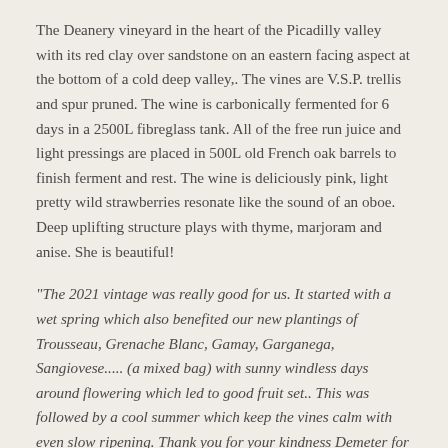The Deanery vineyard in the heart of the Picadilly valley with its red clay over sandstone on an eastern facing aspect at the bottom of a cold deep valley,. The vines are V.S.P. trellis and spur pruned. The wine is carbonically fermented for 6 days in a 2500L fibreglass tank. All of the free run juice and light pressings are placed in 500L old French oak barrels to finish ferment and rest. The wine is deliciously pink, light pretty wild strawberries resonate like the sound of an oboe. Deep uplifting structure plays with thyme, marjoram and anise. She is beautiful!
"The 2021 vintage was really good for us. It started with a wet spring which also benefited our new plantings of Trousseau, Grenache Blanc, Gamay, Garganega, Sangiovese..... (a mixed bag) with sunny windless days around flowering which led to good fruit set.. This was followed by a cool summer which keep the vines calm with even slow ripening. Thank you for your kindness Demeter for